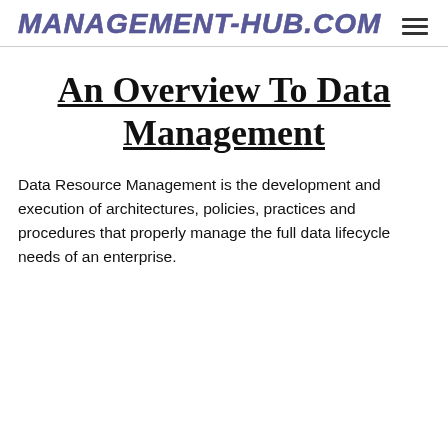MANAGEMENT-HUB.COM
An Overview To Data Management
Data Resource Management is the development and execution of architectures, policies, practices and procedures that properly manage the full data lifecycle needs of an enterprise.